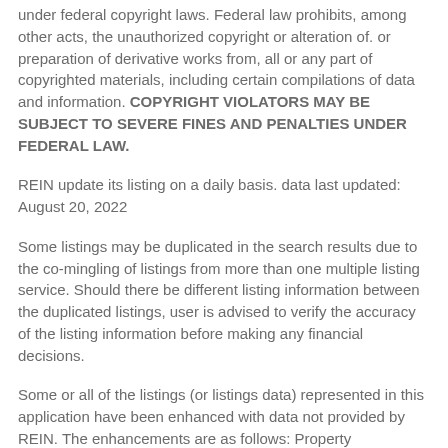under federal copyright laws. Federal law prohibits, among other acts, the unauthorized copyright or alteration of. or preparation of derivative works from, all or any part of copyrighted materials, including certain compilations of data and information. COPYRIGHT VIOLATORS MAY BE SUBJECT TO SEVERE FINES AND PENALTIES UNDER FEDERAL LAW.
REIN update its listing on a daily basis. data last updated: August 20, 2022
Some listings may be duplicated in the search results due to the co-mingling of listings from more than one multiple listing service. Should there be different listing information between the duplicated listings, user is advised to verify the accuracy of the listing information before making any financial decisions.
Some or all of the listings (or listings data) represented in this application have been enhanced with data not provided by REIN. The enhancements are as follows: Property Description, Property Photos. The source of these enhancements are: Google, Zillow, Trulia, etc.
This website does not include information on all the properties available for sale at this time.